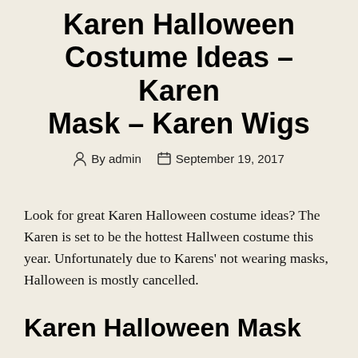Karen Halloween Costume Ideas – Karen Mask – Karen Wigs
By admin   September 19, 2017
Look for great Karen Halloween costume ideas? The Karen is set to be the hottest Hallween costume this year. Unfortunately due to Karens' not wearing masks, Halloween is mostly cancelled.
Karen Halloween Mask